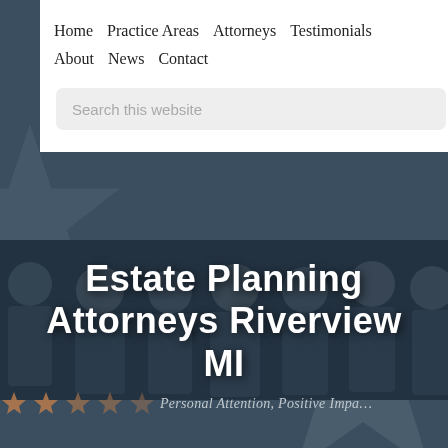Home   Practice Areas   Attorneys   Testimonials   About   News   Contact
Search this website
[Figure (photo): Group photo of several attorneys in suits, dark background, partially visible on left and right edges]
Estate Planning Attorneys Riverview MI
Personal Attention, Positive Impact